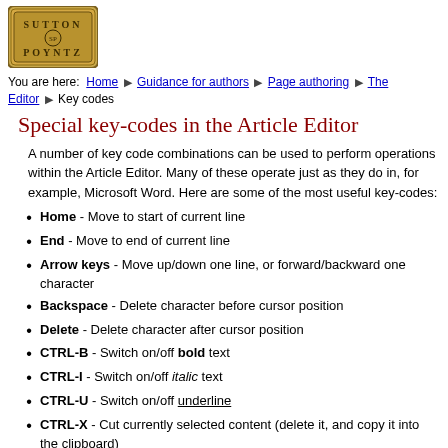[Figure (logo): Sutton Poyntz logo - circular emblem with text SUTTON POYNTZ on a gold/brown background with decorative border]
You are here: Home ▶ Guidance for authors ▶ Page authoring ▶ The Editor ▶ Key codes
Special key-codes in the Article Editor
A number of key code combinations can be used to perform operations within the Article Editor. Many of these operate just as they do in, for example, Microsoft Word. Here are some of the most useful key-codes:
Home - Move to start of current line
End - Move to end of current line
Arrow keys - Move up/down one line, or forward/backward one character
Backspace - Delete character before cursor position
Delete - Delete character after cursor position
CTRL-B - Switch on/off bold text
CTRL-I - Switch on/off italic text
CTRL-U - Switch on/off underline
CTRL-X - Cut currently selected content (delete it, and copy it into the clipboard)
CTRL-C - Copy currently selected content (copy it into the clipboard)
CTRL-V - Paste content from the clipboard
Mouse double-click - Selects the word currently pointed at